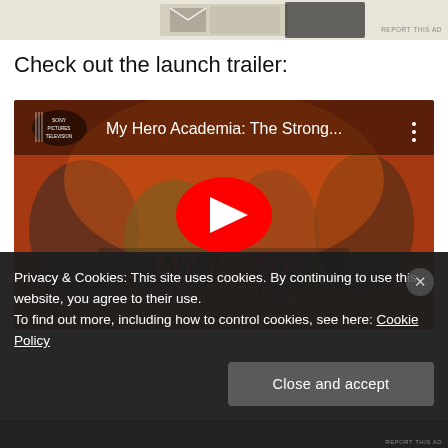[Figure (screenshot): Advertisement banner image at top of page]
Check out the launch trailer:
[Figure (screenshot): YouTube video thumbnail for My Hero Academia: The Strong... showing anime characters on a fiery background with YouTube play button overlay. Sony Pictures Television logo visible top left.]
Privacy & Cookies: This site uses cookies. By continuing to use this website, you agree to their use.
To find out more, including how to control cookies, see here: Cookie Policy
Close and accept